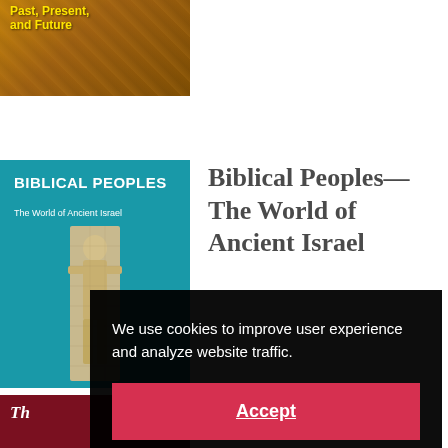[Figure (photo): Partial top of a book with yellow title text 'Past, Present, and Future' on a dark brown/gold textured background]
[Figure (photo): Book cover of 'Biblical Peoples: The World of Ancient Israel' with teal background and ancient figure mosaic]
Biblical Peoples—The World of Ancient Israel
[Figure (photo): Partial view of a third book with dark red/maroon cover, partial title beginning with 'Th']
We use cookies to improve user experience and analyze website traffic.
Accept